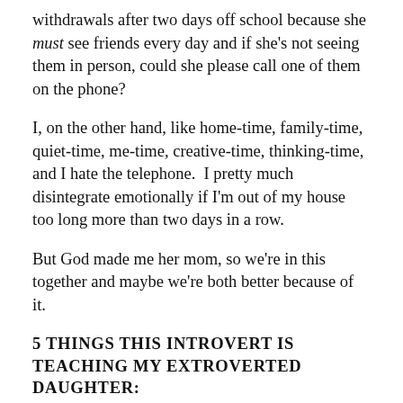withdrawals after two days off school because she must see friends every day and if she's not seeing them in person, could she please call one of them on the phone?
I, on the other hand, like home-time, family-time, quiet-time, me-time, creative-time, thinking-time, and I hate the telephone.  I pretty much disintegrate emotionally if I'm out of my house too long more than two days in a row.
But God made me her mom, so we're in this together and maybe we're both better because of it.
5 THINGS THIS INTROVERT IS TEACHING MY EXTROVERTED DAUGHTER:
1. Be comfortable with who you are when no